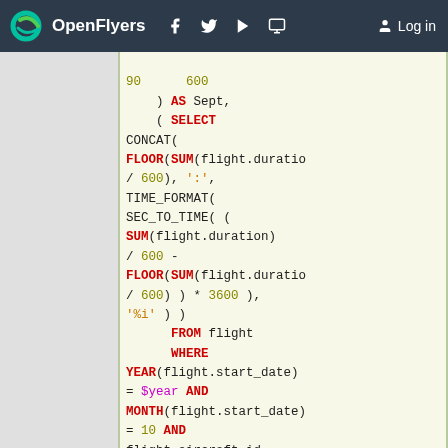OpenFlyers — Log in
[Figure (screenshot): SQL code snippet showing a query with CONCAT, FLOOR, SUM, TIME_FORMAT, SEC_TO_TIME, FROM, WHERE, YEAR, MONTH, AND clauses for flight duration calculations]
SQL code block with flight database query